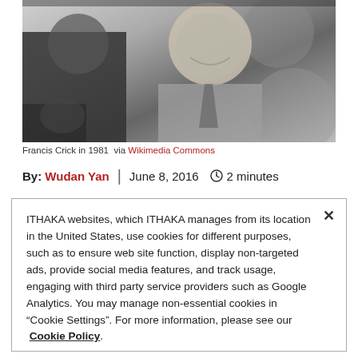[Figure (photo): Black and white photograph of Francis Crick in 1981, showing a smiling man in a suit and tie]
Francis Crick in 1981  via Wikimedia Commons
By: Wudan Yan  |  June 8, 2016  ⏱ 2 minutes
ITHAKA websites, which ITHAKA manages from its location in the United States, use cookies for different purposes, such as to ensure web site function, display non-targeted ads, provide social media features, and track usage, engaging with third party service providers such as Google Analytics. You may manage non-essential cookies in "Cookie Settings". For more information, please see our  Cookie Policy.